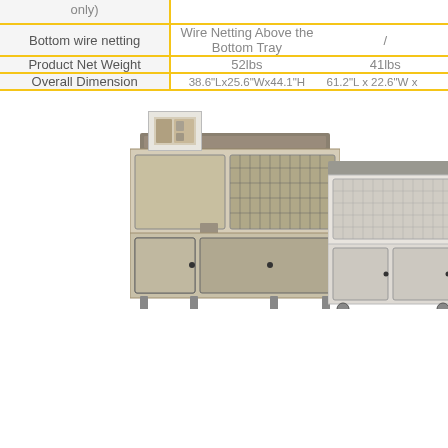| Feature | Product 1 | Product 2 |
| --- | --- | --- |
| Bottom wire netting | Wire Netting Above the Bottom Tray | / |
| Product Net Weight | 52lbs | 41lbs |
| Overall Dimension | 38.6"Lx25.6"Wx44.1"H | 61.2"L x 22.6"W x |
[Figure (photo): Two rabbit/small animal hutch products shown side by side. Left hutch is natural wood tone with dark trim and mesh panels. Right hutch is white/light gray with dark hardware. A small thumbnail image icon appears in the upper left area of the image section.]